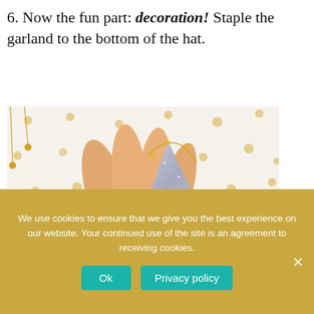6. Now the fun part: decoration! Staple the garland to the bottom of the hat.
[Figure (photo): A hand holding a silver glittery party hat decorated with a gold star garland, against a white background with gold polka dots.]
We use cookies to ensure that we give you the best experience on our website. Your continued use of the site is an agreement to receiving cookies.